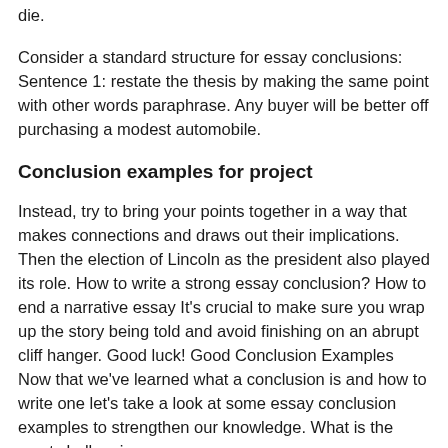die.
Consider a standard structure for essay conclusions: Sentence 1: restate the thesis by making the same point with other words paraphrase. Any buyer will be better off purchasing a modest automobile.
Conclusion examples for project
Instead, try to bring your points together in a way that makes connections and draws out their implications. Then the election of Lincoln as the president also played its role. How to write a strong essay conclusion? How to end a narrative essay It's crucial to make sure you wrap up the story being told and avoid finishing on an abrupt cliff hanger. Good luck! Good Conclusion Examples Now that we've learned what a conclusion is and how to write one let's take a look at some essay conclusion examples to strengthen our knowledge. What is the most challenging